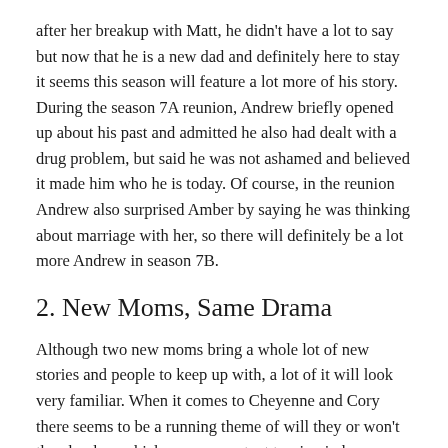after her breakup with Matt, he didn't have a lot to say but now that he is a new dad and definitely here to stay it seems this season will feature a lot more of his story. During the season 7A reunion, Andrew briefly opened up about his past and admitted he also had dealt with a drug problem, but said he was not ashamed and believed it made him who he is today. Of course, in the reunion Andrew also surprised Amber by saying he was thinking about marriage with her, so there will definitely be a lot more Andrew in season 7B.
2. New Moms, Same Drama
Although two new moms bring a whole lot of new stories and people to keep up with, a lot of it will look very familiar. When it comes to Cheyenne and Cory there seems to be a running theme of will they or won't they hookup which causes constant tension in her current relationship. As for Bristol, since it is now known that she and Dakota Meyer have officially divorced, this season will show the dissolution of their relationship which Teen